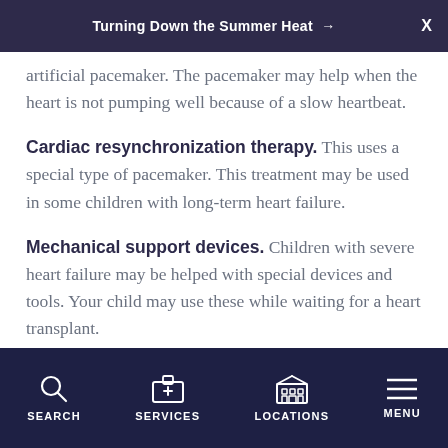Turning Down the Summer Heat →
artificial pacemaker. The pacemaker may help when the heart is not pumping well because of a slow heartbeat.
Cardiac resynchronization therapy. This uses a special type of pacemaker. This treatment may be used in some children with long-term heart failure.
Mechanical support devices. Children with severe heart failure may be helped with special devices and tools. Your child may use these while waiting for a heart transplant.
Heart transplant. A healthy donor heart replaces your
SEARCH   SERVICES   LOCATIONS   MENU